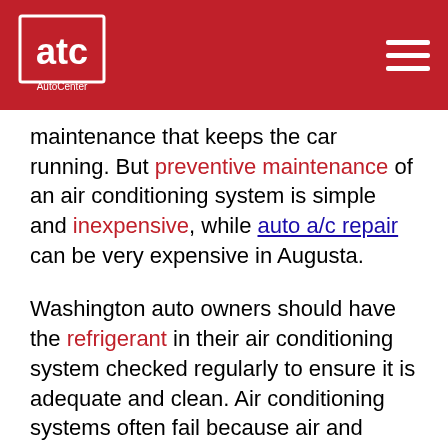ATC AutoCenter logo and navigation
maintenance that keeps the car running. But preventive maintenance of an air conditioning system is simple and inexpensive, while auto a/c repair can be very expensive in Augusta.
Washington auto owners should have the refrigerant in their air conditioning system checked regularly to ensure it is adequate and clean. Air conditioning systems often fail because air and water have contaminated the refrigerant. Air reduces the efficiency of the refrigerant, and water can cause rusting of the system's components. If your refrigerant is contaminated, the system should be